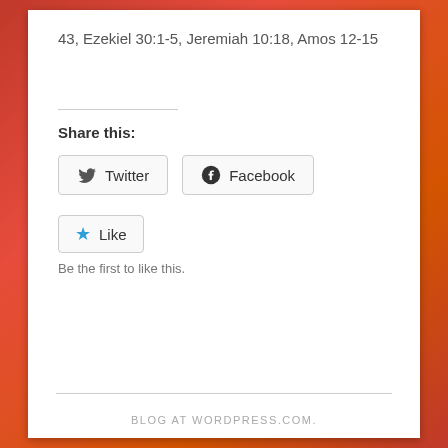43, Ezekiel 30:1-5, Jeremiah 10:18, Amos 12-15
Share this:
Twitter  Facebook
Like  Be the first to like this.
BLOG AT WORDPRESS.COM.